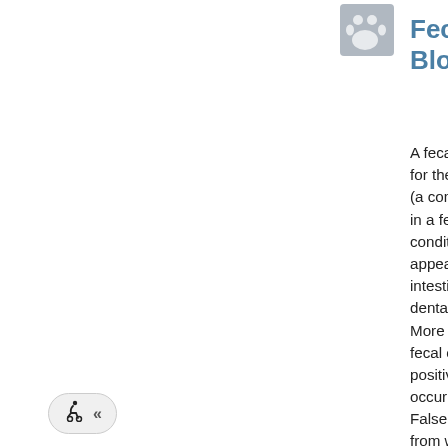[Figure (illustration): Gray square icon showing paw print, representing a pet/veterinary context]
Fecal Occult Blood
A fecal occult blood test screens for the presence of hemoglobin (a component of red blood cells) in a fecal sample. Many conditions can cause blood to appear in the stool including intestinal ulceration, neoplasia, dental disease, and parasites. More testing is needed if the fecal occult blood test is positive. False negatives can occur from intermittent bleeding. False positives can also occur from what the pet has eaten in the last 3 days, such as raw/undercooked meat,